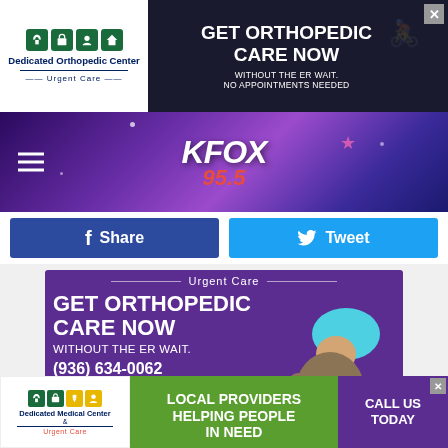[Figure (photo): Top banner ad for Dedicated Orthopedic Center Urgent Care: 'GET ORTHOPEDIC CARE NOW WITHOUT THE ER WAIT. NO APPOINTMENTS NEEDED' with logo and close button]
[Figure (photo): KFOX 95.5 radio station header with purple geometric background, hamburger menu, and logo]
Share
Tweet
[Figure (photo): Dedicated Orthopedic Center Urgent Care ad with purple background: 'GET ORTHOPEDIC CARE NOW WITHOUT THE ER WAIT. (936) 634-0062 NO APPOINTMENT NEEDED. JUST WALK IN.' with child in helmet photo]
The three interconnected movies are set in three distinct time periods: 1994, 1978, and 1666. According to director
[Figure (photo): Bottom banner ad: Dedicated Medical Center & Urgent Care, 'LOCAL PROVIDERS HELPING PEOPLE IN NEED', 'CALL US TODAY']